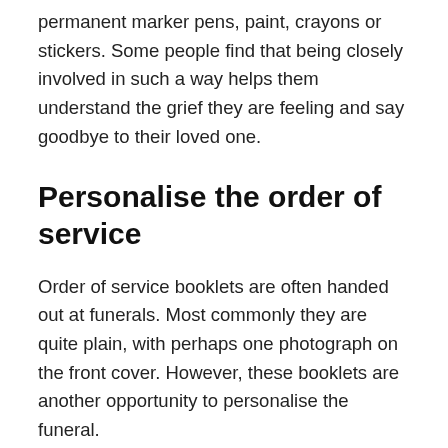permanent marker pens, paint, crayons or stickers. Some people find that being closely involved in such a way helps them understand the grief they are feeling and say goodbye to their loved one.
Personalise the order of service
Order of service booklets are often handed out at funerals. Most commonly they are quite plain, with perhaps one photograph on the front cover. However, these booklets are another opportunity to personalise the funeral.
The cover could be a collage of many different photographs of the person who has passed away. You might even add captions to each photo to explain where